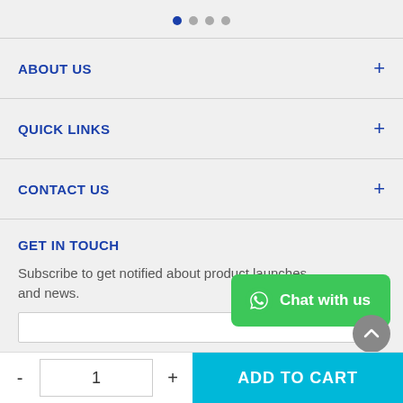[Figure (infographic): Dot indicators: one filled blue dot and three gray dots in a row]
ABOUT US
QUICK LINKS
CONTACT US
GET IN TOUCH
Subscribe to get notified about product launches and news.
[Figure (infographic): Green WhatsApp chat button with WhatsApp icon and 'Chat with us' text]
[Figure (infographic): Gray circular scroll-up arrow button]
- 1 + ADD TO CART